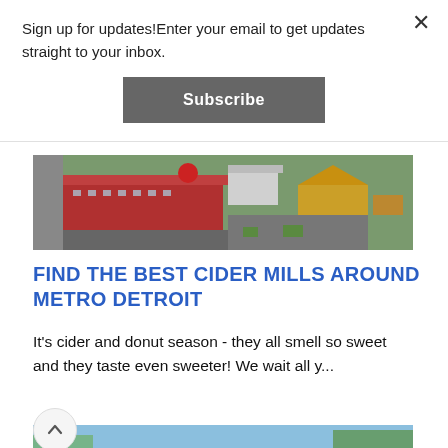Sign up for updates!Enter your email to get updates straight to your inbox.
Subscribe
[Figure (photo): Aerial view of a cider mill complex with red buildings, a large red ball, and outdoor market area]
FIND THE BEST CIDER MILLS AROUND METRO DETROIT
It's cider and donut season - they all smell so sweet and they taste even sweeter! We wait all y...
[Figure (photo): Bottom portion of another article image showing blue sky and green trees]